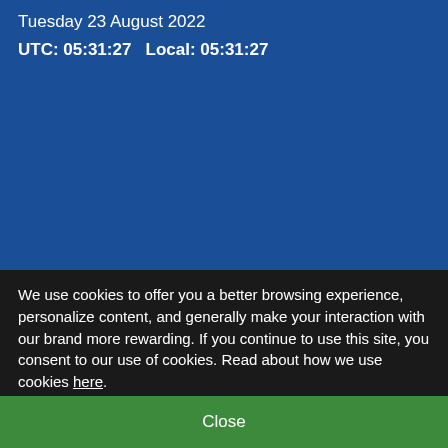[Figure (screenshot): Blue background area representing a webpage background]
Tuesday 23 August 2022
UTC: 05:31:27   Local: 05:31:27
We use cookies to offer you a better browsing experience, personalize content, and generally make your interaction with our brand more rewarding. If you continue to use this site, you consent to our use of cookies. Read about how we use cookies here.
Close